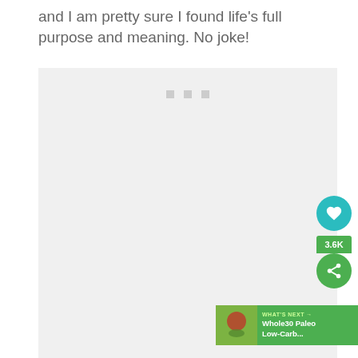and I am pretty sure I found life's full purpose and meaning. No joke!
[Figure (other): Large light gray content placeholder area with three small gray squares near the top center, and a floating UI overlay: teal heart button, green share count label '3.6K', green share button, and a 'WHAT'S NEXT' banner showing 'Whole30 Paleo Low-Carb...' with a thumbnail.]